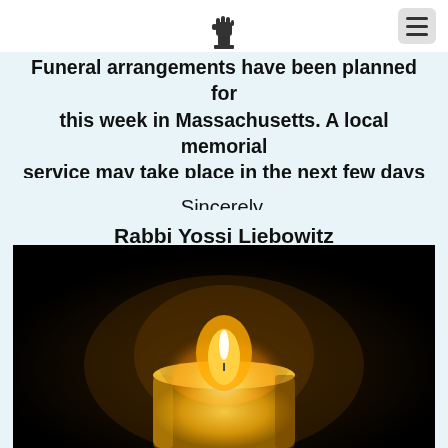[Logo: raised fist / torch icon] [Menu button]
Funeral arrangements have been planned for this week in Massachusetts. A local memorial service may take place in the next few days here in Spartanburg.
Sincerely,
Rabbi Yossi Liebowitz
[Figure (photo): A lit candle glowing warmly against a dark black background. The candle is golden/amber colored and the flame is bright white-orange at its tip.]